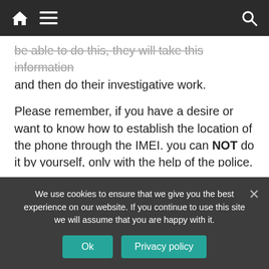[navigation bar with home, menu, and search icons]
be able to do this, they will take this information and then do their investigative work.
Please remember, if you have a desire or want to know how to establish the location of the phone through the IMEI. you can NOT do it by yourself, only with the help of the police. And if you have found on the Internet services that offer for money to trace the phone on have, then it is definitely crooks. If they have access to the stolen phones IMEI database, which is questionable.
We use cookies to ensure that we give you the best experience on our website. If you continue to use this site we will assume that you are happy with it.